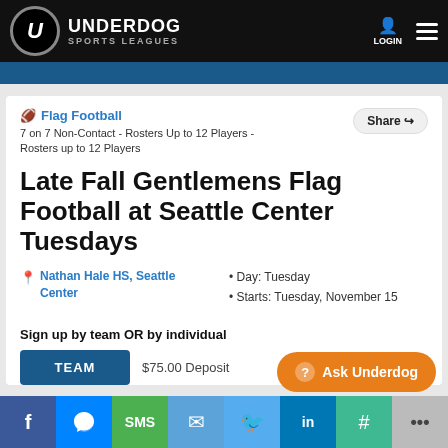UNDERDOG SPORTS LEAGUES
Flag Football
7 on 7 Non-Contact - Rosters Up to 12 Players - Rosters up to 12 Players
Late Fall Gentlemens Flag Football at Seattle Center Tuesdays
Nathan Hale HS, Seattle Center
• Day: Tuesday
• Starts: Tuesday, November 15
Sign up by team OR by individual
TEAM
$75.00 Deposit